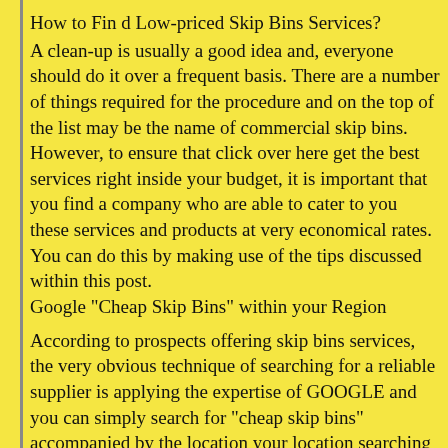How to Find Low-priced Skip Bins Services?
A clean-up is usually a good idea and, everyone should do it over a frequent basis. There are a number of things required for the procedure and on the top of the list may be the name of commercial skip bins. However, to ensure that click over here get the best services right inside your budget, it is important that you find a company who are able to cater to you these services and products at very economical rates. You can do this by making use of the tips discussed within this post.
Google "Cheap Skip Bins" within your Region
According to prospects offering skip bins services, the very obvious technique of searching for a reliable supplier is applying the expertise of GOOGLE and you can simply search for "cheap skip bins" accompanied by the location your location searching for them.
There are some companies in most region that would be prepared to offer their services at very inexpensive rates or perhaps in the rates recommended by you.
But when considering decision, you need to ensure that there isn't any compromises on the quality which there